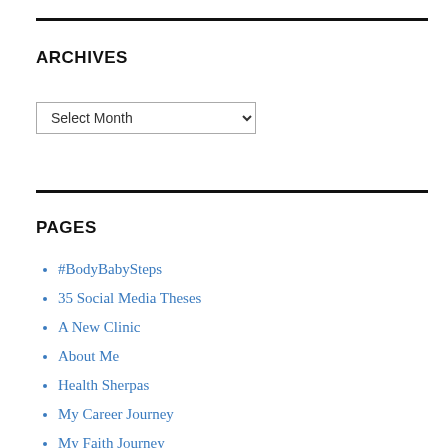ARCHIVES
Select Month
PAGES
#BodyBabySteps
35 Social Media Theses
A New Clinic
About Me
Health Sherpas
My Career Journey
My Faith Journey